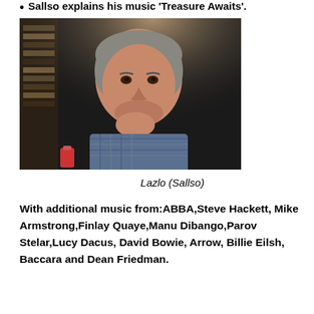Sallso explains his music 'Treasure Awaits'.
[Figure (photo): Photo of Lazlo (Sallso), a middle-aged man with grey hair, sitting in front of a bookshelf, resting his chin on his hand, wearing a plaid shirt.]
Lazlo (Sallso)
With additional music from: ABBA, Steve Hackett, Mike Armstrong, Finlay Quaye, Manu Dibango, Parov Stelar, Lucy Dacus, David Bowie, Arrow, Billie Eilsh, Baccara and Dean Friedman.